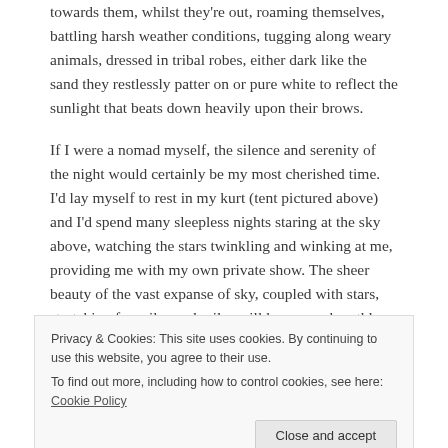towards them, whilst they're out, roaming themselves, battling harsh weather conditions, tugging along weary animals, dressed in tribal robes, either dark like the sand they restlessly patter on or pure white to reflect the sunlight that beats down heavily upon their brows.
If I were a nomad myself, the silence and serenity of the night would certainly be my most cherished time. I'd lay myself to rest in my kurt (tent pictured above) and I'd spend many sleepless nights staring at the sky above, watching the stars twinkling and winking at me, providing me with my own private show. The sheer beauty of the vast expanse of sky, coupled with stars, stretching for miles and miles will leave you breathless.
The dazzling Kyrgyz mountains towering up around me and the glittering turquoise rivers that run between them would be home to me.
Privacy & Cookies: This site uses cookies. By continuing to use this website, you agree to their use.
To find out more, including how to control cookies, see here: Cookie Policy
image of a thousand words, that I've created in my daydreamer head.